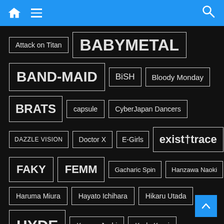Navigation bar with home, menu, and search icons
Attack on Titan
BABYMETAL
BAND-MAID
BiSH
Bloody Monday
BRATS
capsule
CyberJapan Dancers
DAZZLE VISION
Doctor X
E-Girls
exist†trace
FAKY
FEMM
Gacharic Spin
Hanzawa Naoki
Haruma Miura
Hayato Ichihara
Hikaru Utada
HYDE
Kamen Joshi
Koda Kumi